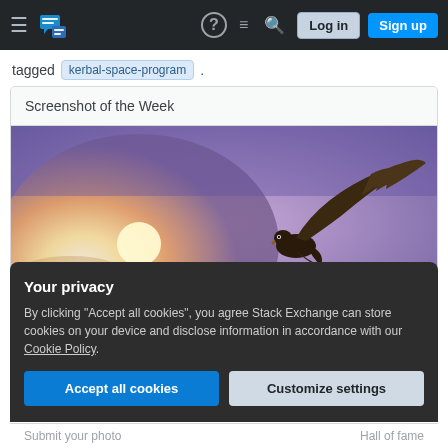Stack Exchange navigation bar with hamburger menu, logo, help, chat, search icons, Log in and Sign up buttons
tagged kerbal-space-program .
Screenshot of the Week
[Figure (photo): Eagle silhouette flying against a dramatic sunset sky with purple and golden light]
Your privacy
By clicking "Accept all cookies", you agree Stack Exchange can store cookies on your device and disclose information in accordance with our Cookie Policy.
Accept all cookies   Customize settings
Submit your photo    Hall of fame